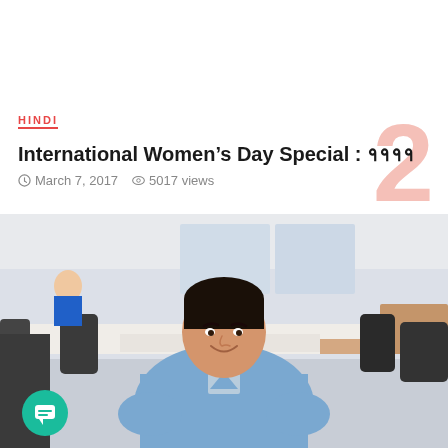HINDI
International Women's Day Special : ????
March 7, 2017  5017 views
[Figure (photo): A smiling man in a blue sweater sitting in an office environment with chairs and desks visible in the background. A woman in a blue top is partially visible in the background.]